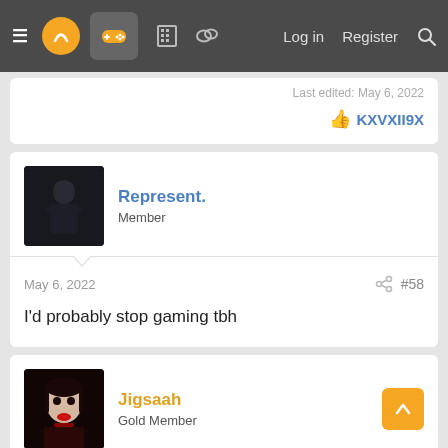≡ [logo] [gamepad icon] [building icon] [chat icon]   Log in   Register  🔍
Last edited: May 6, 2022
👍 KXVXII9X
Represent.
Member
May 6, 2022  #58
I'd probably stop gaming tbh
Jigsaah
Gold Member
May 6, 2022
i don't think im ever going back to console, unless i can't